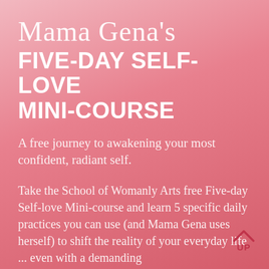Mama Gena's FIVE-DAY SELF-LOVE MINI-COURSE
A free journey to awakening your most confident, radiant self.
Take the School of Womanly Arts free Five-day Self-love Mini-course and learn 5 specific daily practices you can use (and Mama Gena uses herself) to shift the reality of your everyday life ... even with a demanding